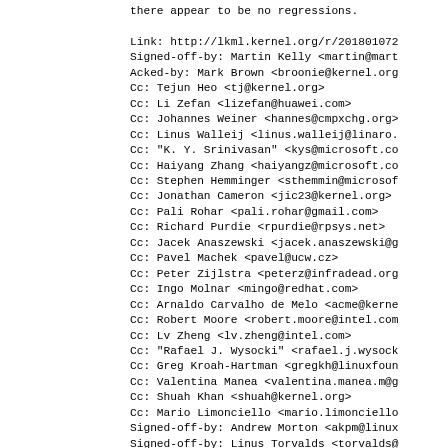there appear to be no regressions.

Link: http://lkml.kernel.org/r/201801072
Signed-off-by: Martin Kelly <martin@mart
Acked-by: Mark Brown <broonie@kernel.org
Cc: Tejun Heo <tj@kernel.org>
Cc: Li Zefan <lizefan@huawei.com>
Cc: Johannes Weiner <hannes@cmpxchg.org>
Cc: Linus Walleij <linus.walleij@linaro.
Cc: "K. Y. Srinivasan" <kys@microsoft.co
Cc: Haiyang Zhang <haiyangz@microsoft.co
Cc: Stephen Hemminger <sthemmin@microsof
Cc: Jonathan Cameron <jic23@kernel.org>
Cc: Pali Rohar <pali.rohar@gmail.com>
Cc: Richard Purdie <rpurdie@rpsys.net>
Cc: Jacek Anaszewski <jacek.anaszewski@g
Cc: Pavel Machek <pavel@ucw.cz>
Cc: Peter Zijlstra <peterz@infradead.org
Cc: Ingo Molnar <mingo@redhat.com>
Cc: Arnaldo Carvalho de Melo <acme@kerne
Cc: Robert Moore <robert.moore@intel.com
Cc: Lv Zheng <lv.zheng@intel.com>
Cc: "Rafael J. Wysocki" <rafael.j.wysock
Cc: Greg Kroah-Hartman <gregkh@linuxfoun
Cc: Valentina Manea <valentina.manea.m@g
Cc: Shuah Khan <shuah@kernel.org>
Cc: Mario Limonciello <mario.limonciello
Signed-off-by: Andrew Morton <akpm@linux
Signed-off-by: Linus Torvalds <torvalds@